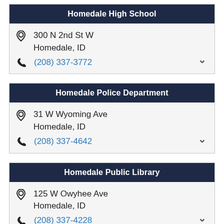Homedale High School
300 N 2nd St W
Homedale, ID
(208) 337-3772
Homedale Police Department
31 W Wyoming Ave
Homedale, ID
(208) 337-4642
Homedale Public Library
125 W Owyhee Ave
Homedale, ID
(208) 337-4228